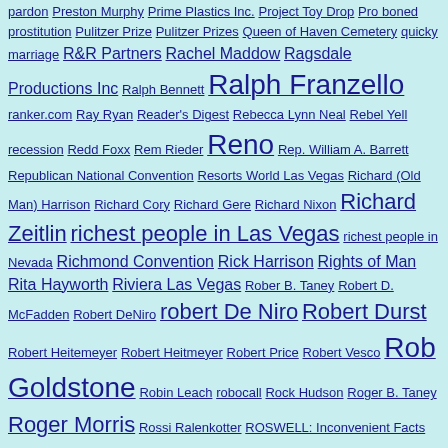pardon Preston Murphy Prime Plastics Inc. Project Toy Drop Pro boned prostitution Pulitzer Prize Pulitzer Prizes Queen of Haven Cemetery quicky marriage R&R Partners Rachel Maddow Ragsdale Productions Inc Ralph Bennett Ralph Franzello ranker.com Ray Ryan Reader's Digest Rebecca Lynn Neal Rebel Yell recession Redd Foxx Rem Rieder Reno Rep. William A. Barrett Republican National Convention Resorts World Las Vegas Richard (Old Man) Harrison Richard Cory Richard Gere Richard Nixon Richard Zeitlin richest people in Las Vegas richest people in Nevada Richmond Convention Rick Harrison Rights of Man Rita Hayworth Riviera Las Vegas Rober B. Taney Robert D. McFadden Robert DeNiro robert De Niro Robert Durst Robert Heitemeyer Robert Heitmeyer Robert Price Robert Vesco Rob Goldstone Robin Leach robocall Rock Hudson Roger B. Taney Roger Morris Rossi Ralenkotter ROSWELL: Inconvenient Facts and the Will to Believe Roswell Army Air Field Roswell Incident Route 91 Harvest Festival Rudy Giuliani Rutherford B. Hayes Rwanda election Sacramento Bee Sahara Avenue Las Vegas Sally Denton Salt Lake City Salt Lake Tribune Sam's Town Hotel and Gambling Hall Sam Giancana Sammy Davis Jr. Samuel B. Axtell Sands Expo and Convention Bureau Sands Expo and Convention Center Sanford and Son San Francisco Bay San Jose Mercury Herald San Pedro San Pedro Los Angeles and Salt Lake Railroad San Rafael California San Rafael massacre Santa Fe Ring Saul Steinberg scam charity scam PAC scam PACs Scarlet & Gray Free Press Scotland Scott Christianson Scott Dozier Scott W. Brady Screw Nevada Bill Seattle Seattle-Tacoma International Airport Seattle write-in votes second-largest telegram